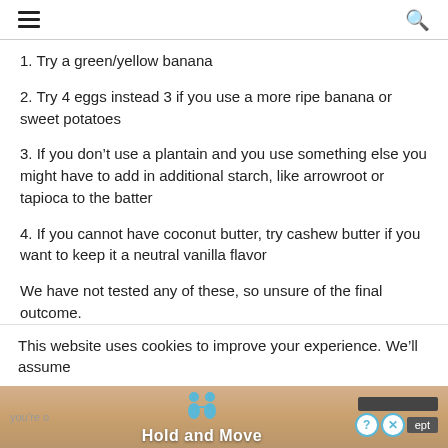≡  🔍
1. Try a green/yellow banana
2. Try 4 eggs instead 3 if you use a more ripe banana or sweet potatoes
3. If you don't use a plantain and you use something else you might have to add in additional starch, like arrowroot or tapioca to the batter
4. If you cannot have coconut butter, try cashew butter if you want to keep it a neutral vanilla flavor
We have not tested any of these, so unsure of the final outcome.
This website uses cookies to improve your experience. We'll assume you're a...cept
[Figure (infographic): Hold and Move advertisement banner with animated figures]